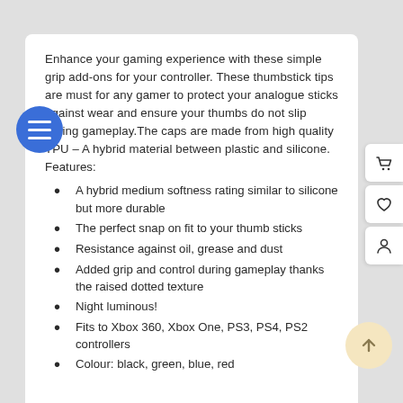Enhance your gaming experience with these simple grip add-ons for your controller. These thumbstick tips are must for any gamer to protect your analogue sticks against wear and ensure your thumbs do not slip during gameplay. The caps are made from high quality TPU – A hybrid material between plastic and silicone. Features:
A hybrid medium softness rating similar to silicone but more durable
The perfect snap on fit to your thumb sticks
Resistance against oil, grease and dust
Added grip and control during gameplay thanks the raised dotted texture
Night luminous!
Fits to Xbox 360, Xbox One, PS3, PS4, PS2 controllers
Colour: black, green, blue, red